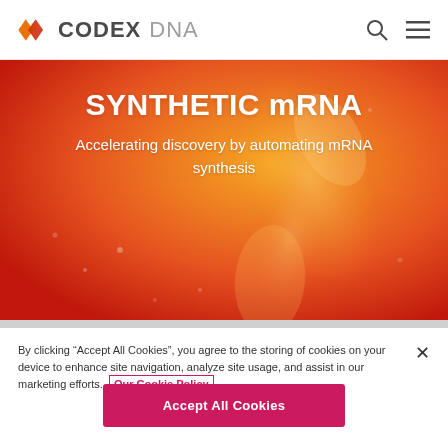[Figure (logo): Codex DNA logo with orange diamond/chevron icon and text 'CODEX DNA']
[Figure (photo): Hero banner with red-to-orange gradient background with abstract organic glowing shapes, containing centered text 'SYNTHETIC mRNA' and subtitle 'Accelerating discovery by automating mRNA synthesis']
SYNTHETIC mRNA
Accelerating discovery by automating mRNA synthesis
By clicking “Accept All Cookies”, you agree to the storing of cookies on your device to enhance site navigation, analyze site usage, and assist in our marketing efforts. Our Cookie Policy
Accept All Cookies